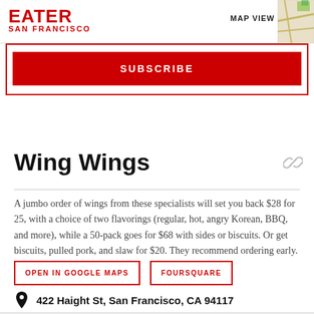EATER SAN FRANCISCO
[Figure (map): Small map thumbnail in top right corner]
MAP VIEW
SUBSCRIBE
Wing Wings
A jumbo order of wings from these specialists will set you back $28 for 25, with a choice of two flavorings (regular, hot, angry Korean, BBQ, and more), while a 50-pack goes for $68 with sides or biscuits. Or get biscuits, pulled pork, and slaw for $20. They recommend ordering early.
OPEN IN GOOGLE MAPS
FOURSQUARE
422 Haight St, San Francisco, CA 94117